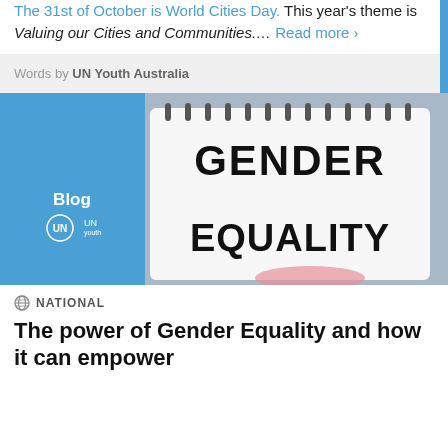The 31st of October is World Cities Day. This year's theme is Valuing our Cities and Communities…. Read more ›
Words by UN Youth Australia
[Figure (photo): Photo of a person holding a spiral notebook with 'GENDER EQUALITY' written on it. The left side shows a blue panel with 'Blog' text and the UN Youth Australia logo.]
NATIONAL
The power of Gender Equality and how it can empower